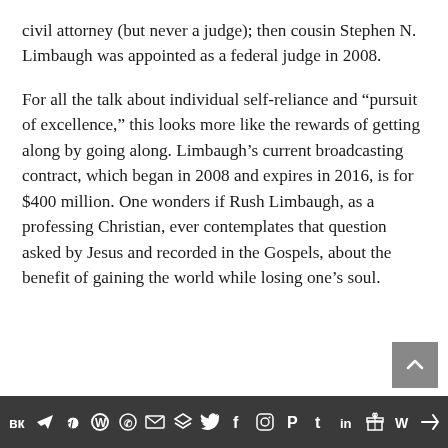civil attorney (but never a judge); then cousin Stephen N. Limbaugh was appointed as a federal judge in 2008.
For all the talk about individual self-reliance and “pursuit of excellence,” this looks more like the rewards of getting along by going along. Limbaugh’s current broadcasting contract, which began in 2008 and expires in 2016, is for $400 million. One wonders if Rush Limbaugh, as a professing Christian, ever contemplates that question asked by Jesus and recorded in the Gospels, about the benefit of gaining the world while losing one’s soul.
Social media toolbar: VK, Telegram, Reddit, WordPress, WhatsApp, Email, Buffer, Twitter, Facebook, Instagram, Pinterest, Tumblr, LinkedIn, Gift, Pocket, Share